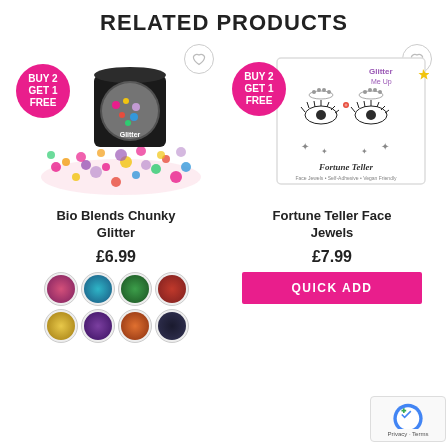RELATED PRODUCTS
[Figure (photo): Product photo of Bio Blends Chunky Glitter jar with colorful chunky glitter spilled out, with pink Buy 2 Get 1 Free badge and heart wishlist icon]
Bio Blends Chunky Glitter
£6.99
[Figure (photo): Product photo of Fortune Teller Face Jewels in white box with Glitter Me Up logo, showing face jewel design, with pink Buy 2 Get 1 Free badge and heart wishlist icon]
Fortune Teller Face Jewels
£7.99
QUICK ADD